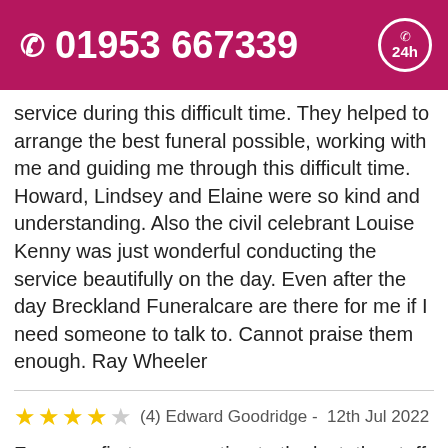01953 667339
service during this difficult time. They helped to arrange the best funeral possible, working with me and guiding me through this difficult time. Howard, Lindsey and Elaine were so kind and understanding. Also the civil celebrant Louise Kenny was just wonderful conducting the service beautifully on the day. Even after the day Breckland Funeralcare are there for me if I need someone to talk to. Cannot praise them enough. Ray Wheeler
(4) Edward Goodridge - 12th Jul 2022
From our first conversation to the last, the staff at Breckland Funeral Care have been first class.